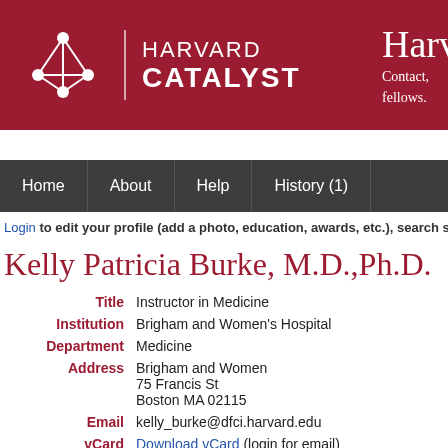[Figure (logo): Harvard Catalyst logo with network graph icon, divider line, and HARVARD CATALYST text in white on dark red background, with partial 'Harv' text and 'Contact, fellows.' on the right side]
[Figure (screenshot): Navigation bar with dark gray background showing Home, About, Help, History (1) tabs]
Login to edit your profile (add a photo, education, awards, etc.), search s
Kelly Patricia Burke, M.D.,Ph.D.
| Field | Value |
| --- | --- |
| Title | Instructor in Medicine |
| Institution | Brigham and Women's Hospital |
| Department | Medicine |
| Address | Brigham and Women
75 Francis St
Boston MA 02115 |
| Email | kelly_burke@dfci.harvard.edu |
| vCard | Download vCard (login for email) |